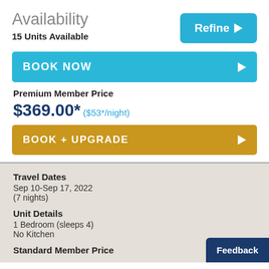Availability
15 Units Available
BOOK NOW
Premium Member Price
$369.00* ($53*/night)
BOOK + UPGRADE
Travel Dates
Sep 10-Sep 17, 2022
(7 nights)
Unit Details
1 Bedroom (sleeps 4)
No Kitchen
Standard Member Price
Feedback